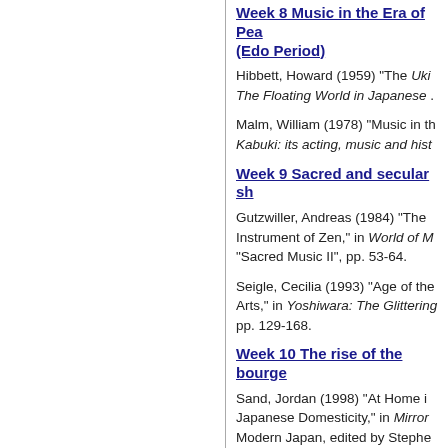Week 8 Music in the Era of Pea (Edo Period)
Hibbett, Howard (1959) “The Uki The Floating World in Japanese .
Malm, William (1978) “Music in th Kabuki: its acting, music and hist
Week 9 Sacred and secular sh
Gutzwiller, Andreas (1984) “The Instrument of Zen,” in World of M “Sacred Music II”, pp. 53-64.
Seigle, Cecilia (1993) “Age of the Arts,” in Yoshiwara: The Glittering pp. 129-168.
Week 10 The rise of the bourge
Sand, Jordan (1998) “At Home i Japanese Domesticity,” in Mirror Modern Japan, edited by Stephe
Keister, Jay (2008) “Okeikoba: Le Negotiating Tradition in Japane